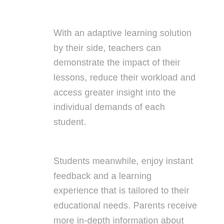With an adaptive learning solution by their side, teachers can demonstrate the impact of their lessons, reduce their workload and access greater insight into the individual demands of each student.
Students meanwhile, enjoy instant feedback and a learning experience that is tailored to their educational needs. Parents receive more in-depth information about their child's progress and the technology supports teachers and schools with audit trails, evidence and accountability.
Culture, tech and the industry are showing signs that the time is now. But what of the